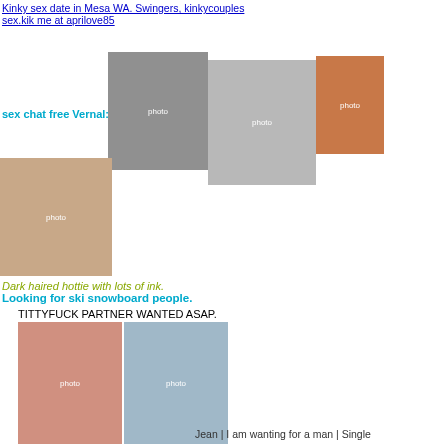Kinky sex date in Mesa WA. Swingers, kinkycouples sex.kik me at aprilove85
[Figure (photo): Three overlapping photos: muscular tattooed man (B&W), two silhouettes dancing (B&W), cropped torso in sequined bikini bottom (color)]
sex chat free Vernal:
[Figure (photo): Close-up photo of dark-haired person with floral tattoo on torso, lying on white sheets]
Dark haired hottie with lots of ink.
Looking for ski snowboard people.
TITTYFUCK PARTNER WANTED ASAP.
[Figure (photo): Two small photos side by side: lingerie photo left, laptop and bikini torso right]
Jean | I am wanting for a man | Single